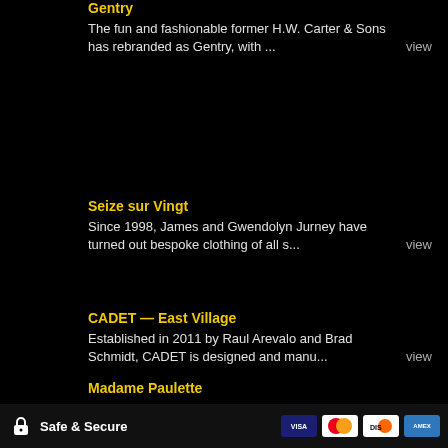Gentry
The fun and fashionable former H.W. Carter & Sons has rebranded as Gentry, with ...
Seize sur Vingt
Since 1998, James and Gwendolyn Jurney have turned out bespoke clothing of all s...
CADET — East Village
Established in 2011 by Raul Arevalo and Brad Schmidt, CADET is designed and manu...
Madame Paulette
It makes perfect sense that a group of clothing artisans like
Safe & Secure